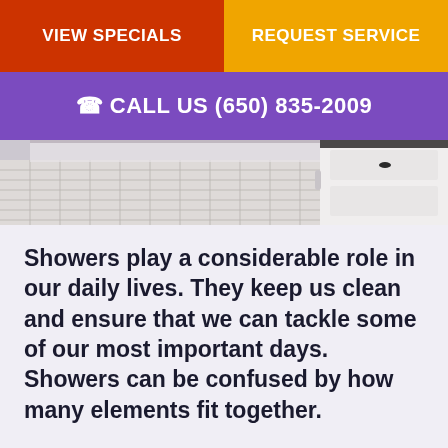VIEW SPECIALS | REQUEST SERVICE
CALL US (650) 835-2009
[Figure (photo): Bathroom shower interior with white tile flooring and white cabinetry, partially visible.]
Showers play a considerable role in our daily lives. They keep us clean and ensure that we can tackle some of our most important days. Showers can be confused by how many elements fit together.
A working shower requires plumbing, as well as the right enclosure, pipes, and appliances. When a shower fails unexpectedly, it can throw a wrench